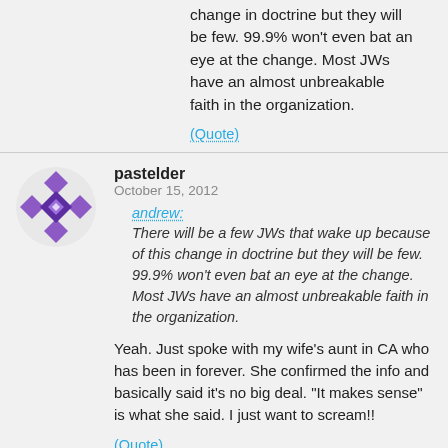change in doctrine but they will be few. 99.9% won't even bat an eye at the change. Most JWs have an almost unbreakable faith in the organization.
(Quote)
pastelder
October 15, 2012
andrew:
There will be a few JWs that wake up because of this change in doctrine but they will be few. 99.9% won't even bat an eye at the change. Most JWs have an almost unbreakable faith in the organization.
Yeah. Just spoke with my wife's aunt in CA who has been in forever. She confirmed the info and basically said it's no big deal. "It makes sense" is what she said. I just want to scream!!
(Quote)
whateverhappenedtome
May 3, 2013